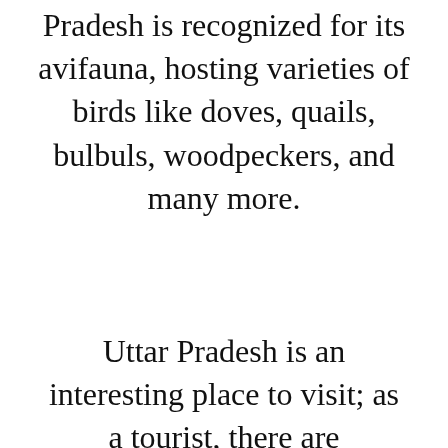Pradesh is recognized for its avifauna, hosting varieties of birds like doves, quails, bulbuls, woodpeckers, and many more.
Uttar Pradesh is an interesting place to visit; as a tourist, there are undoubtedly many things you will find attractive about this place. Listed below is some general and interesting information about the northern